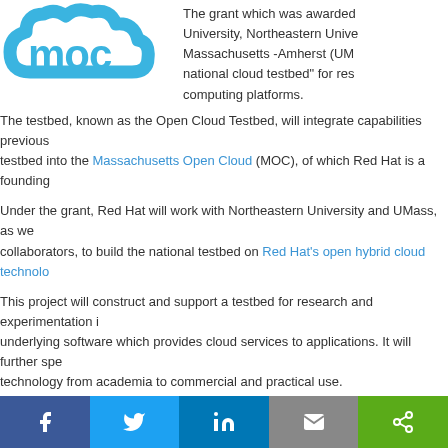[Figure (logo): Massachusetts Open Cloud (MOC) logo — blue cloud shape with 'moc' text]
The grant which was awarded to ... University, Northeastern University, Massachusetts -Amherst (UM... national cloud testbed" for res... computing platforms.
The testbed, known as the Open Cloud Testbed, will integrate capabilities previously... testbed into the Massachusetts Open Cloud (MOC), of which Red Hat is a founding...
Under the grant, Red Hat will work with Northeastern University and UMass, as we... collaborators, to build the national testbed on Red Hat's open hybrid cloud technolo...
This project will construct and support a testbed for research and experimentation i... underlying software which provides cloud services to applications. It will further spe... technology from academia to commercial and practical use.
In specific, the new testbed will combine proven software technologies with a real p... programmable hardware - Field Programmable Gate Arrays (FPGA) - capabilities n... to researchers today.
The combination of a testbed and production cloud will allow
(a) larger scale compared to isolated testbeds,
[Figure (other): Social media sharing bar with Facebook, Twitter, LinkedIn, Email, and Share buttons]